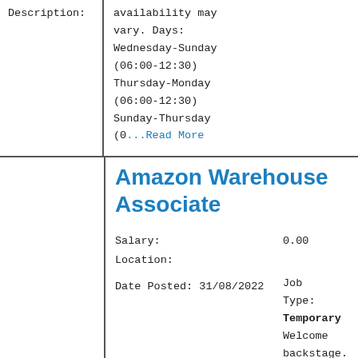Description:
availability may vary. Days: Wednesday-Sunday (06:00-12:30) Thursday-Monday (06:00-12:30) Sunday-Thursday (0...Read More
Amazon Warehouse Associate
Salary: 0.00
Location:
Date Posted: 31/08/2022
Job Type: Temporary
Welcome backstage. Join our team at Amazon to keep the show...